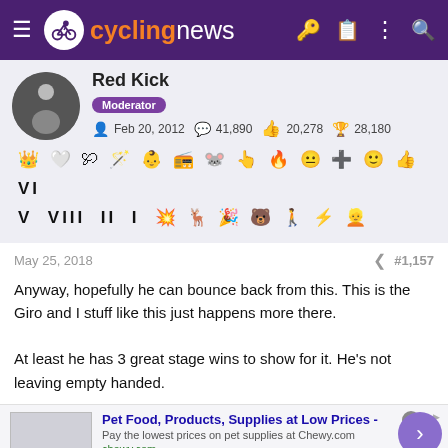cyclingnews
Red Kick
Moderator
Feb 20, 2012  41,890  20,278  28,180
[Figure (other): Achievement/badge icons row: crown, heart-hands, shoe, wand, figure, monitor, owl, hand, fire, face, plus, smile, thumbs-up, VI, V, VIII, II, I, explosion, deer, party, bear, figure, lightning, person]
May 25, 2018
#1,157
Anyway, hopefully he can bounce back from this. This is the Giro and I stuff like this just happens more there.

At least he has 3 great stage wins to show for it. He's not leaving empty handed.
[Figure (other): Advertisement banner: Pet Food, Products, Supplies at Low Prices - chewy.com]